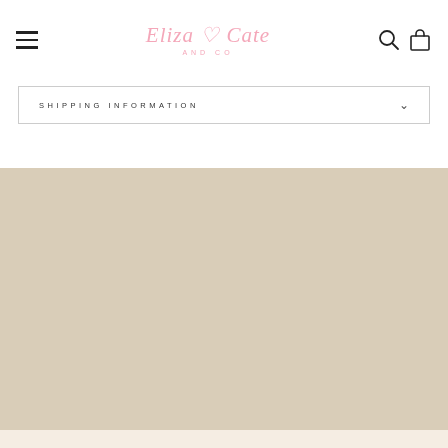Eliza Cate and Co — Navigation header with hamburger menu, logo, search and cart icons
SHIPPING INFORMATION
[Figure (other): Solid beige/tan colored background section]